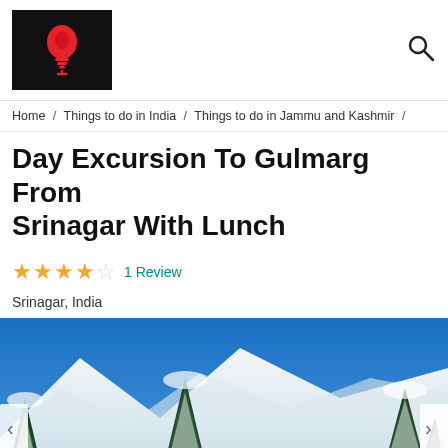[Logo: lightbulb icon] [Search icon]
Home / Things to do in India / Things to do in Jammu and Kashmir /
Day Excursion To Gulmarg From Srinagar With Lunch
★★★★☆ 1 Review
Srinagar, India
[Figure (photo): Winter snow scene in Gulmarg showing snow-covered chalets, pine trees heavily laden with snow, and mountainous terrain under a clear blue sky with people walking on a snowy path.]